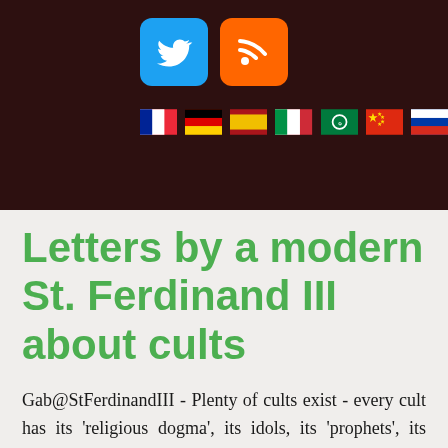[Figure (screenshot): Dark header bar with Twitter and RSS social icons, and flag icons for France, Germany, Spain, Italy, Arabic, China, Russia]
Letters by a modern St. Ferdinand III about cults
Gab@StFerdinandIII - Plenty of cults exist - every cult has its 'religious dogma', its idols, its 'prophets', its 'science', its 'proof' and its intolerant liturgy of demands. Cults everywhere: Corona, 'The Science' or Scientism, Islam, the State, the cult of Gender